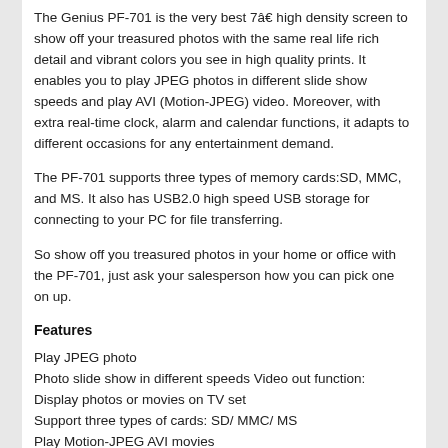The Genius PF-701 is the very best 7â€ high density screen to show off your treasured photos with the same real life rich detail and vibrant colors you see in high quality prints. It enables you to play JPEG photos in different slide show speeds and play AVI (Motion-JPEG) video. Moreover, with extra real-time clock, alarm and calendar functions, it adapts to different occasions for any entertainment demand.
The PF-701 supports three types of memory cards:SD, MMC, and MS. It also has USB2.0 high speed USB storage for connecting to your PC for file transferring.
So show off you treasured photos in your home or office with the PF-701, just ask your salesperson how you can pick one on up.
Features
Play JPEG photo
Photo slide show in different speeds Video out function: Display photos or movies on TV set
Support three types of cards: SD/ MMC/ MS
Play Motion-JPEG AVI movies